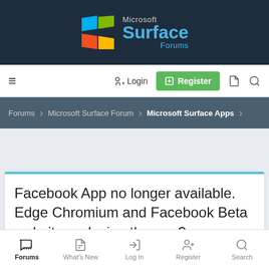[Figure (logo): Microsoft Surface Forums logo with Windows flag icon and teal text on dark navy background]
≡  → Login  ⊞ Register  🗎  🔍
Forums › Microsoft Surface Forum › Microsoft Surface Apps
Facebook App no longer available. Edge Chromium and Facebook Beta website replacing the app?
Forums  What's New  Log In  Register  Search